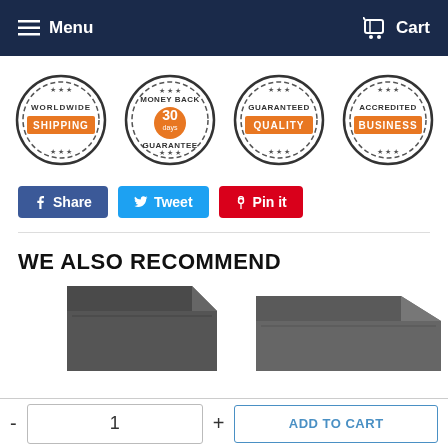Menu  Cart
[Figure (infographic): Four circular badge/seal icons: Worldwide Shipping, Money Back Guarantee (30 days), Guaranteed Quality, Accredited Business. Each has an orange ribbon banner and a dark gear/cog border.]
Share
Tweet
Pin it
WE ALSO RECOMMEND
[Figure (photo): Two dark grey external hard drive product images, partially visible, cropped at bottom of page.]